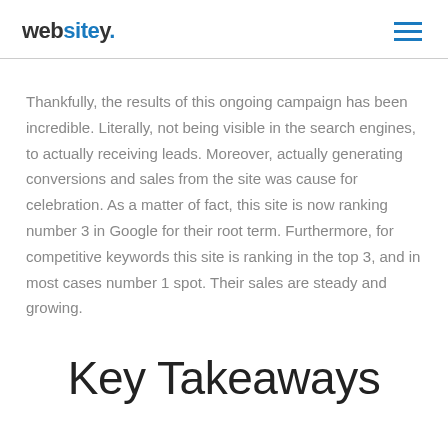websitey.
Thankfully, the results of this ongoing campaign has been incredible. Literally, not being visible in the search engines, to actually receiving leads. Moreover, actually generating conversions and sales from the site was cause for celebration. As a matter of fact, this site is now ranking number 3 in Google for their root term. Furthermore, for competitive keywords this site is ranking in the top 3, and in most cases number 1 spot. Their sales are steady and growing.
Key Takeaways